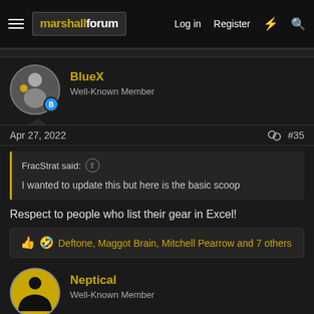marshallforum — Log in | Register
BlueX
Well-Known Member
Apr 27, 2022	#35
FracStrat said:
I wanted to update this but here is the basic scoop
Respect to people who list their gear in Excel!
Deftone, Maggot Brain, Mitchell Pearrow and 7 others
Neptical
Well-Known Member